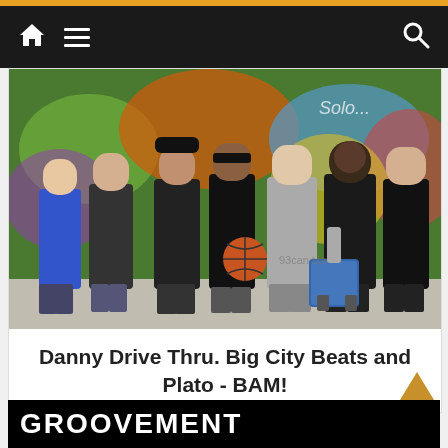Navigation bar with home, menu, and search icons
[Figure (photo): Group of seven young men posing in front of a colorful graffiti wall. One person holds a basketball. A blue rolling bag/cooler is on the ground to the right. The group is standing on concrete.]
Danny Drive Thru. Big City Beats and Plato - BAM!
[Figure (photo): Black banner with white bold text reading GROOVEMENT (partially visible at bottom of page)]